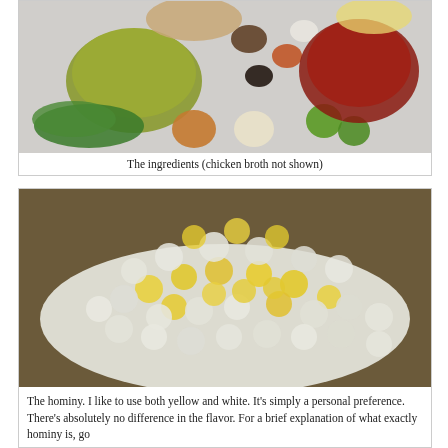[Figure (photo): Overhead flat-lay photo of recipe ingredients including bowls of green salsa, red tomatoes, spices, cilantro, onion, garlic, limes, and other ingredients on a light surface. Caption notes chicken broth not shown.]
The ingredients (chicken broth not shown)
[Figure (photo): Close-up photo of a bowl of hominy showing both yellow and white kernels mixed together.]
The hominy. I like to use both yellow and white. It’s simply a personal preference. There’s absolutely no difference in the flavor. For a brief explanation of what exactly hominy is, go